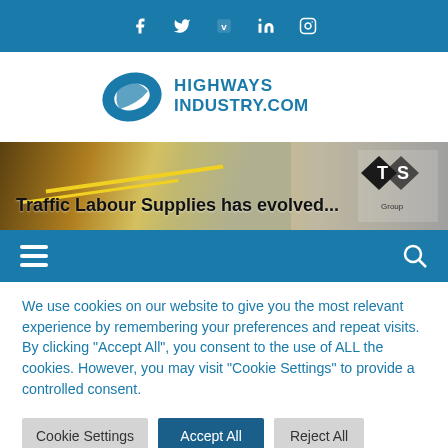Social media icons: Facebook, Twitter, Vimeo, LinkedIn, Instagram
[Figure (logo): HIGHWAYS INDUSTRY.COM logo with blue swoosh graphic]
[Figure (photo): Traffic Labour Supplies has evolved... banner ad with road image and TLS Group diamond logo]
[Figure (other): Navigation bar with hamburger menu icon and search icon]
We use cookies on our website to give you the most relevant experience by remembering your preferences and repeat visits. By clicking "Accept All", you consent to the use of ALL the cookies. However, you may visit "Cookie Settings" to provide a controlled consent.
Cookie Settings | Accept All | Reject All